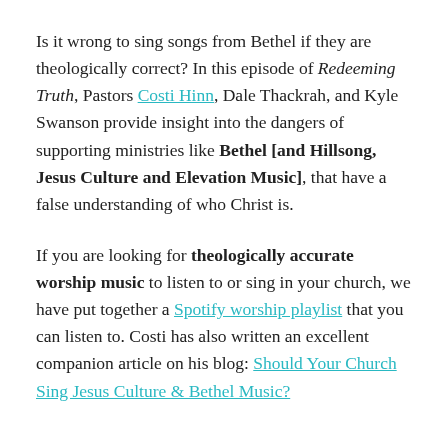Is it wrong to sing songs from Bethel if they are theologically correct? In this episode of Redeeming Truth, Pastors Costi Hinn, Dale Thackrah, and Kyle Swanson provide insight into the dangers of supporting ministries like Bethel [and Hillsong, Jesus Culture and Elevation Music], that have a false understanding of who Christ is.
If you are looking for theologically accurate worship music to listen to or sing in your church, we have put together a Spotify worship playlist that you can listen to. Costi has also written an excellent companion article on his blog: Should Your Church Sing Jesus Culture & Bethel Music?